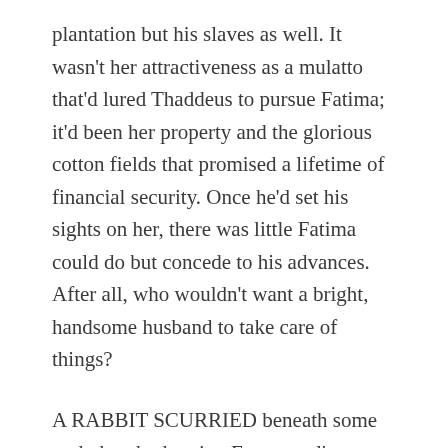plantation but his slaves as well. It wasn't her attractiveness as a mulatto that'd lured Thaddeus to pursue Fatima; it'd been her property and the glorious cotton fields that promised a lifetime of financial security. Once he'd set his sights on her, there was little Fatima could do but concede to his advances. After all, who wouldn't want a bright, handsome husband to take care of things?
A RABBIT SCURRIED beneath some underbrush, drawing Emmanuel's attention to the cool, damp breeze and dark clouds promising an impending storm. He walked to the front porch, paused long enough to grab his oil lamp, and made his way inside. Emmanuel hesitated briefly to take in the magnificence of the grand staircase winding its way, like an ornate ribbon, up to the second and third